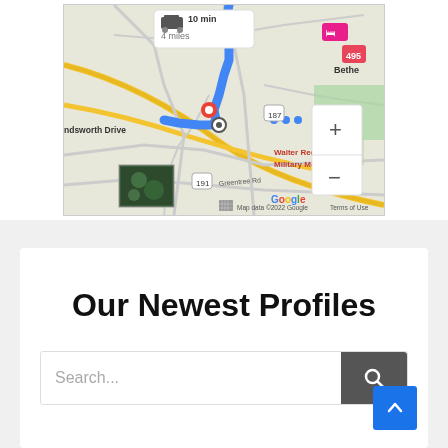[Figure (map): Google Maps screenshot showing a route near Wadsworth Drive with a blue navigation path, red location pin, zoom controls (+/-), satellite thumbnail, and labels for Walter Reed National Military Medical Center, Bethesda, route 187, 191, 495, Greentree Rd. Map data ©2022 Google. Distance shown: 10 min, 4 miles.]
Our Newest Profiles
Search...